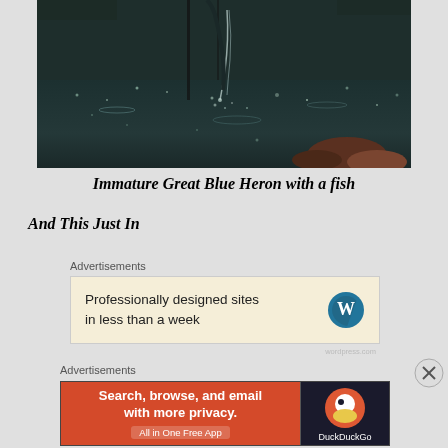[Figure (photo): Photo of an Immature Great Blue Heron catching a fish at a rocky stream, water splashing around the bird's beak and the fish.]
Immature Great Blue Heron with a fish
And This Just In
Advertisements
[Figure (other): WordPress advertisement: 'Professionally designed sites in less than a week' with WordPress logo.]
Advertisements
[Figure (other): DuckDuckGo advertisement: 'Search, browse, and email with more privacy. All in One Free App' with DuckDuckGo logo on dark background.]